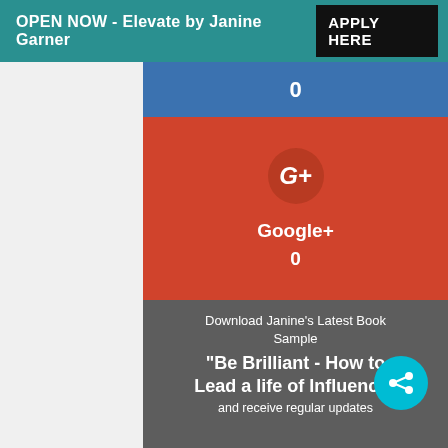OPEN NOW - Elevate by Janine Garner   APPLY HERE
[Figure (screenshot): Partial blue social share button showing count of 0]
[Figure (screenshot): Google+ red social share button with G+ icon, label 'Google+' and count '0']
[Figure (screenshot): Book download call-to-action card with dark overlay. Text: 'Download Janine's Latest Book Sample', '"Be Brilliant - How to Lead a life of Influence"', 'and receive regular updates'. Teal share button overlapping bottom right.]